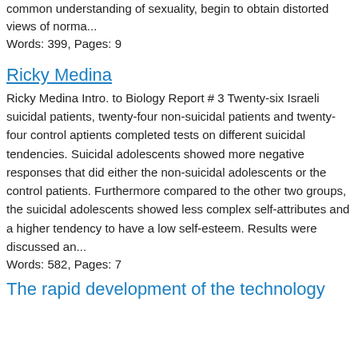common understanding of sexuality, begin to obtain distorted views of norma...
Words: 399, Pages: 9
Ricky Medina
Ricky Medina Intro. to Biology Report # 3 Twenty-six Israeli suicidal patients, twenty-four non-suicidal patients and twenty-four control aptients completed tests on different suicidal tendencies. Suicidal adolescents showed more negative responses that did either the non-suicidal adolescents or the control patients. Furthermore compared to the other two groups, the suicidal adolescents showed less complex self-attributes and a higher tendency to have a low self-esteem. Results were discussed an...
Words: 582, Pages: 7
The rapid development of the technology